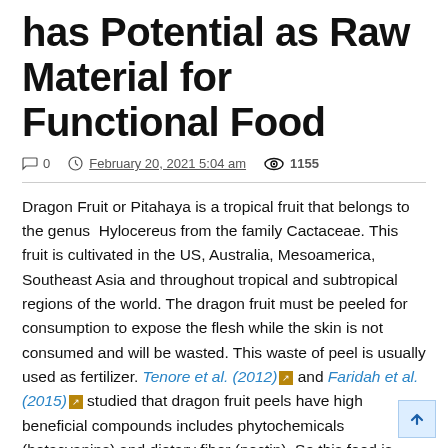has Potential as Raw Material for Functional Food
0  February 20, 2021 5:04 am  1155
Dragon Fruit or Pitahaya is a tropical fruit that belongs to the genus Hylocereus from the family Cactaceae. This fruit is cultivated in the US, Australia, Mesoamerica, Southeast Asia and throughout tropical and subtropical regions of the world. The dragon fruit must be peeled for consumption to expose the flesh while the skin is not consumed and will be wasted. This waste of peel is usually used as fertilizer. Tenore et al. (2012) and Faridah et al. (2015) studied that dragon fruit peels have high beneficial compounds includes phytochemicals (betacyanins) and dietary fiber (pectin). So this food is must be considered as a good material for the development of functional foods. Peel of the dragon fruit also has another beneficial compound